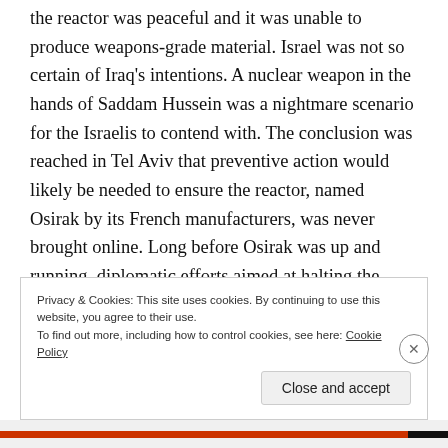the reactor was peaceful and it was unable to produce weapons-grade material. Israel was not so certain of Iraq's intentions. A nuclear weapon in the hands of Saddam Hussein was a nightmare scenario for the Israelis to contend with. The conclusion was reached in Tel Aviv that preventive action would likely be needed to ensure the reactor, named Osirak by its French manufacturers, was never brought online. Long before Osirak was up and running, diplomatic efforts aimed at halting the reactor program were initiated with France, and the United States. Simultaneously, clandestine actions were launched with the intention of fatally
Privacy & Cookies: This site uses cookies. By continuing to use this website, you agree to their use.
To find out more, including how to control cookies, see here: Cookie Policy
Close and accept